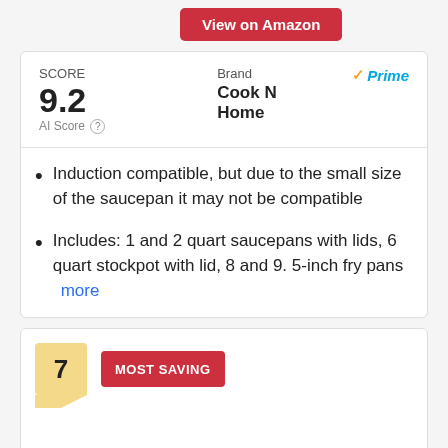[Figure (screenshot): View on Amazon red button]
SCORE 9.2 AI Score  Brand ✓Prime Cook N Home
Induction compatible, but due to the small size of the saucepan it may not be compatible
Includes: 1 and 2 quart saucepans with lids, 6 quart stockpot with lid, 8 and 9. 5-inch fry pans  more
[Figure (screenshot): MOST SAVING badge with number 7]